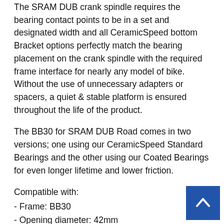The SRAM DUB crank spindle requires the bearing contact points to be in a set and designated width and all CeramicSpeed bottom Bracket options perfectly match the bearing placement on the crank spindle with the required frame interface for nearly any model of bike. Without the use of unnecessary adapters or spacers, a quiet & stable platform is ensured throughout the life of the product.
The BB30 for SRAM DUB Road comes in two versions; one using our CeramicSpeed Standard Bearings and the other using our Coated Bearings for even longer lifetime and lower friction.
Compatible with:
- Frame: BB30
- Opening diameter: 42mm
- Shell width: 68mm
- Bottom Bracket Tool for installation: BBT-79
In the box: